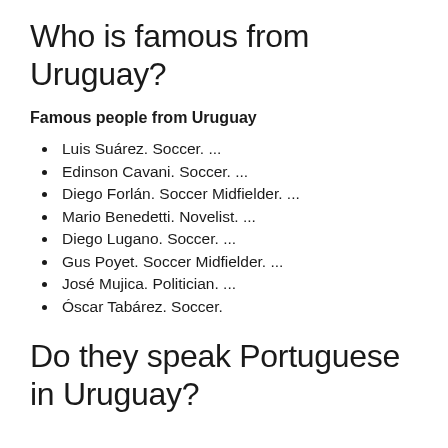Who is famous from Uruguay?
Famous people from Uruguay
Luis Suárez. Soccer. ...
Edinson Cavani. Soccer. ...
Diego Forlán. Soccer Midfielder. ...
Mario Benedetti. Novelist. ...
Diego Lugano. Soccer. ...
Gus Poyet. Soccer Midfielder. ...
José Mujica. Politician. ...
Óscar Tabárez. Soccer.
Do they speak Portuguese in Uruguay?